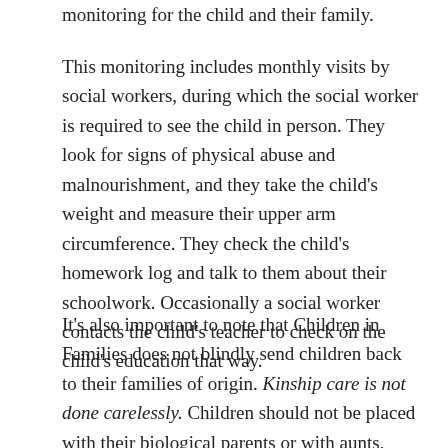monitoring for the child and their family.
This monitoring includes monthly visits by social workers, during which the social worker is required to see the child in person. They look for signs of physical abuse and malnourishment, and they take the child's weight and measure their upper arm circumference. They check the child's homework log and talk to them about their schoolwork. Occasionally a social worker contacts the child's teacher to check on the child's education that way.
It's also important to note that Children in Families does not blindly send children back to their families of origin. Kinship care is not done carelessly. Children should not be placed with their biological parents or with aunts, uncles, or grandparents if the environment is not safe.